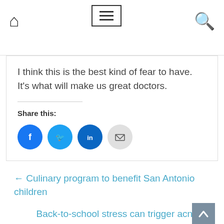Navigation bar with home icon, menu icon, and search icon
I think this is the best kind of fear to have. It’s what will make us great doctors.
Share this:
[Figure (infographic): Social share buttons: Facebook (blue circle), Twitter (light blue circle), LinkedIn (dark blue circle), Email (grey circle)]
← Culinary program to benefit San Antonio children
Back-to-school stress can trigger acne →